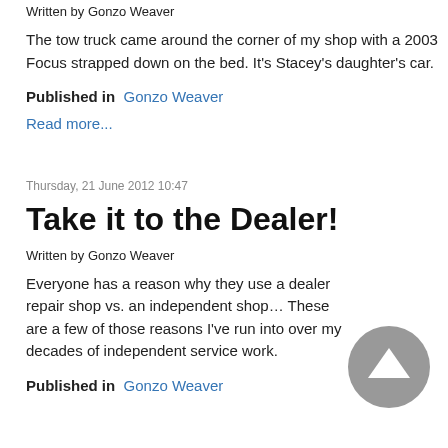Written by Gonzo Weaver
The tow truck came around the corner of my shop with a 2003 Focus strapped down on the bed. It's Stacey's daughter's car.
Published in  Gonzo Weaver
Read more...
Thursday, 21 June 2012 10:47
Take it to the Dealer!
Written by Gonzo Weaver
Everyone has a reason why they use a dealer repair shop vs. an independent shop… These are a few of those reasons I've run into over my decades of independent service work.
Published in  Gonzo Weaver